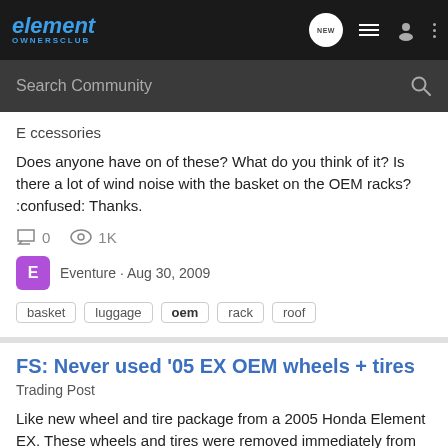element OWNERSCLUB
Search Community
E ccessories
Does anyone have on of these? What do you think of it? Is there a lot of wind noise with the basket on the OEM racks? :confused: Thanks.
0 comments · 1K views
Eventure · Aug 30, 2009
basket · luggage · oem · rack · roof
FS: Never used '05 EX OEM wheels + tires
Trading Post
Like new wheel and tire package from a 2005 Honda Element EX. These wheels and tires were removed immediately from the vehicle when it was delivered brand